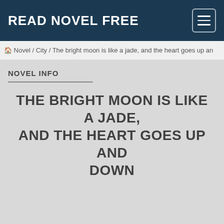READ NOVEL FREE
🏠 Novel / City / The bright moon is like a jade, and the heart goes up an
NOVEL INFO
THE BRIGHT MOON IS LIKE A JADE, AND THE HEART GOES UP AND DOWN